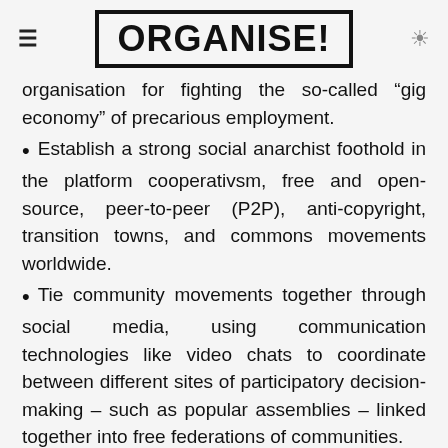ORGANISE!
organisation for fighting the so-called “gig economy” of precarious employment.
Establish a strong social anarchist foothold in the platform cooperativsm, free and open-source, peer-to-peer (P2P), anti-copyright, transition towns, and commons movements worldwide.
Tie community movements together through social media, using communication technologies like video chats to coordinate between different sites of participatory decision-making – such as popular assemblies – linked together into free federations of communities.